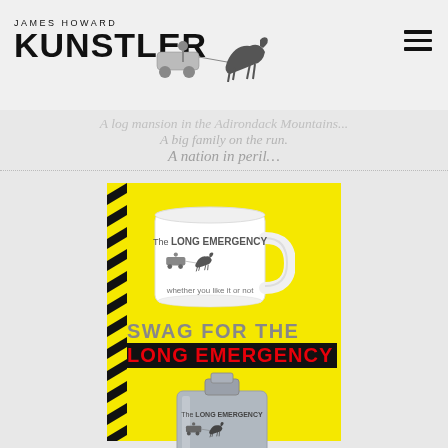JAMES HOWARD KUNSTLER
A log mansion in the Adirondack Mountains...
A big family on the run.
A nation in peril…
[Figure (illustration): Spiral-bound yellow card with a coffee mug and flask labeled 'The LONG EMERGENCY whether you like it or not'. Text reads 'SWAG FOR THE LONG EMERGENCY'.]